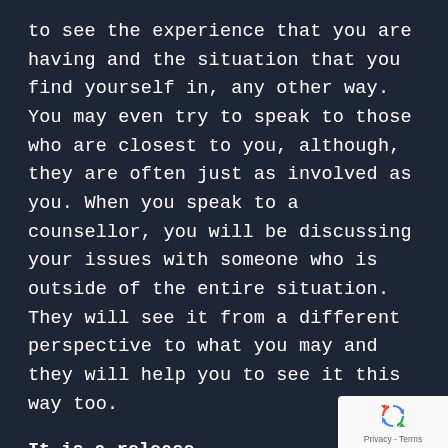to see the experience that you are having and the situation that you find yourself in, any other way. You may even try to speak to those who are closest to you, although, they are often just as involved as you. When you speak to a counsellor, you will be discussing your issues with someone who is outside of the entire situation. They will see it from a different perspective to what you may and they will help you to see it this way too.
It is a release
Another great reason for trying out talking therapies is because it is somewhat of a rele
[Figure (logo): Google reCAPTCHA badge with recycling-arrows logo icon and 'Privacy - Terms' text]